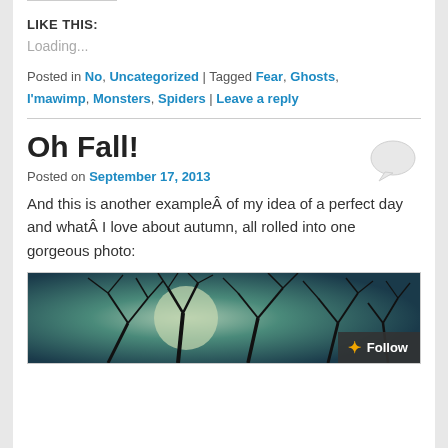LIKE THIS:
Loading...
Posted in No, Uncategorized | Tagged Fear, Ghosts, I'mawimp, Monsters, Spiders | Leave a reply
Oh Fall!
Posted on September 17, 2013
And this is another exampleÂ of my idea of a perfect day and whatÂ I love about autumn, all rolled into one gorgeous photo:
[Figure (photo): Dark moody photograph of bare tree branches silhouetted against a dark teal/green sky, partially obscuring a bright light source (moon or sun)]